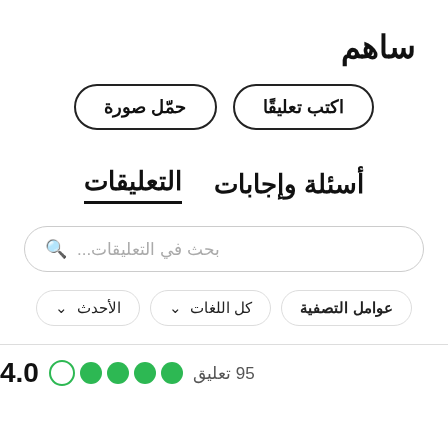ساهم
اكتب تعليقًا
حمّل صورة
التعليقات   أسئلة وإجابات
بحث في التعليقات...
عوامل التصفية  كل اللغات ∨  الأحدث ∨
4.0  ●●●●○  95 تعليق